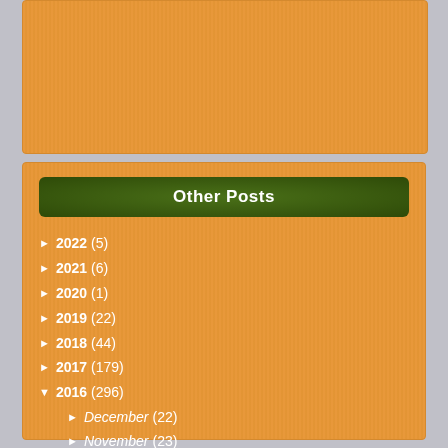[Figure (other): Orange textured panel area at top]
Other Posts
► 2022 (5)
► 2021 (6)
► 2020 (1)
► 2019 (22)
► 2018 (44)
► 2017 (179)
▼ 2016 (296)
► December (22)
► November (23)
► October (21)
► September (21)